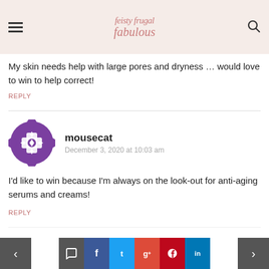feisty frugal fabulous - website header with hamburger menu and search icon
My skin needs help with large pores and dryness … would love to win to help correct!
REPLY
mousecat
December 3, 2020 at 10:03 am
I'd like to win because I'm always on the look-out for anti-aging serums and creams!
REPLY
Jennifer P.